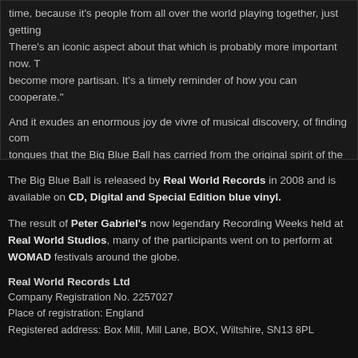time, because it's people from all over the world playing together, just getting There's an iconic aspect about that which is probably more important now. T become more partisan. It's a timely reminder of how you can cooperate."
And it exudes an enormous joy de vivre of musical discovery, of finding com tongues that the Big Blue Ball has carried from the original spirit of the origin through all those years in limbo to the finished copy you have now. "After all fine wine ready to be drunk," says Peter Gabriel, "It was the most fun music had. I'd love to do it again."
The Big Blue Ball is released by Real World Records in 2008 and is available on CD, Digital and Special Edition blue vinyl.
The result of Peter Gabriel's now legendary Recording Weeks held at Real World Studios, many of the participants went on to perform at WOMAD festivals around the globe.
Real World Records Ltd
Company Registration No. 2257027
Place of registration: England
Registered address: Box Mill, Mill Lane, BOX, Wiltshire, SN13 8PL